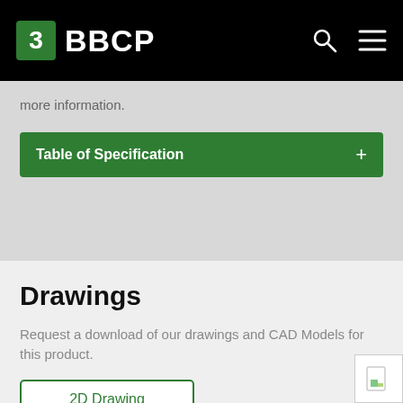BBCP
more information.
Table of Specification
Drawings
Request a download of our drawings and CAD Models for this product.
2D Drawing